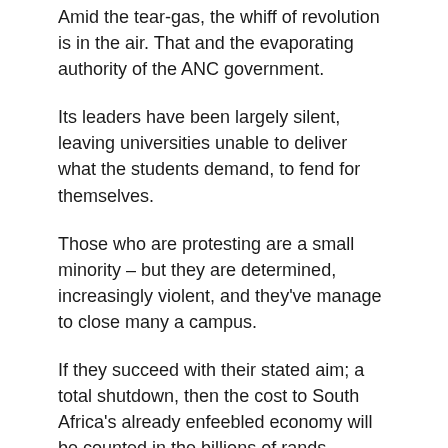Amid the tear-gas, the whiff of revolution is in the air. That and the evaporating authority of the ANC government.
Its leaders have been largely silent, leaving universities unable to deliver what the students demand, to fend for themselves.
Those who are protesting are a small minority – but they are determined, increasingly violent, and they've manage to close many a campus.
If they succeed with their stated aim; a total shutdown, then the cost to South Africa's already enfeebled economy will be counted in the billions of rands.
Add to that the personal financial disaster for heavily indebted students unable to graduate – and a missing year of doctors and other skilled workers who won't complete their studies.